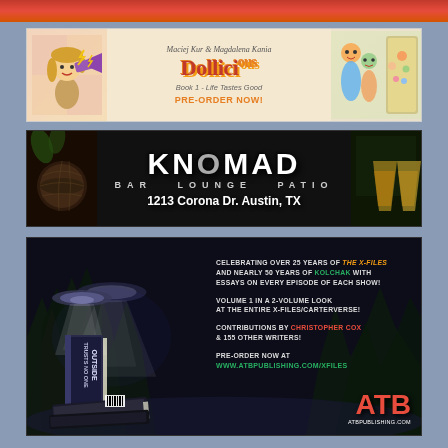[Figure (illustration): Advertisement for Dollicious comic book by Maciej Kur and Magdalena Kania. Features animated characters, stylized title 'Dollicious', subtitle 'Book 1 - Life Tastes Good', and 'PRE-ORDER NOW!' call to action.]
[Figure (illustration): Advertisement for KNOMAD Bar Lounge Patio, located at 1213 Corona Dr. Austin, TX. Black background with large distressed logo text and food/drink imagery on sides.]
[Figure (illustration): Advertisement for ATB Publishing X-Files book 'Outside Trusts No One'. Dark forest/UFO background. Text celebrates 25 years of The X-Files and 50 years of Kolchak. Contributions by Christopher Cox and 155 other writers. Pre-order at www.atbpublishing.com/xfiles.]